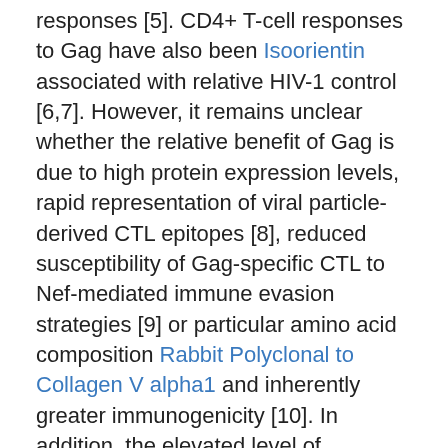responses [5]. CD4+ T-cell responses to Gag have also been Isoorientin associated with relative HIV-1 control [6,7]. However, it remains unclear whether the relative benefit of Gag is due to high protein expression levels, rapid representation of viral particle-derived CTL epitopes [8], reduced susceptibility of Gag-specific CTL to Nef-mediated immune evasion strategies [9] or particular amino acid composition Rabbit Polyclonal to Collagen V alpha1 and inherently greater immunogenicity [10]. In addition, the elevated level of conservation of Gag across viral isolates [11] and the severe fitness reductions caused by CTL escape variants [12-16] may provide Gag-specific T-cell responses with a particular advantage. At the same time, it is also clear that not all Gag-specific responses exert the same antiviral activity, suggesting that a rational selection of Gag components could help focus